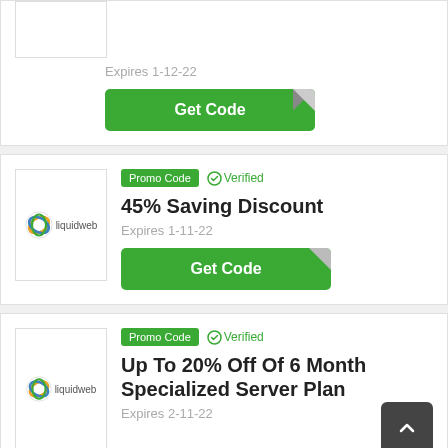Expires 1-12-22
[Figure (illustration): Green 'Get Code' button with folded corner effect]
Promo Code  ✓ Verified
45% Saving Discount
Expires 1-11-22
[Figure (illustration): Green 'Get Code' button with folded corner effect]
Promo Code  ✓ Verified
Up To 20% Off Of 6 Month Specialized Server Plan
Expires 2-11-22